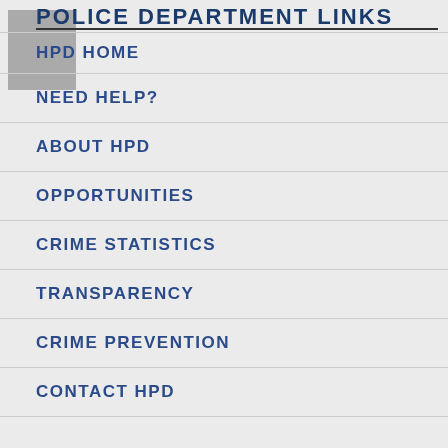POLICE DEPARTMENT LINKS
HPD HOME
NEED HELP?
ABOUT HPD
OPPORTUNITIES
CRIME STATISTICS
TRANSPARENCY
CRIME PREVENTION
CONTACT HPD